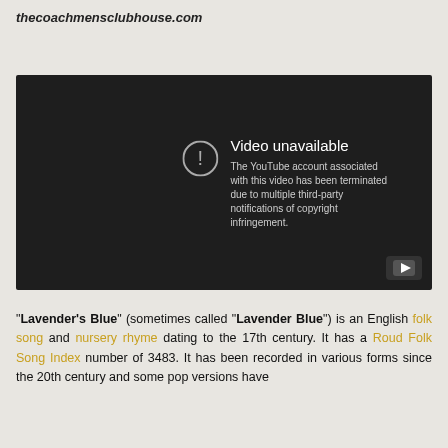thecoachmensclubhouse.com
[Figure (screenshot): Embedded YouTube video player showing 'Video unavailable' error. The YouTube account associated with this video has been terminated due to multiple third-party notifications of copyright infringement. A YouTube logo button appears in the bottom-right corner.]
"Lavender's Blue" (sometimes called "Lavender Blue") is an English folk song and nursery rhyme dating to the 17th century. It has a Roud Folk Song Index number of 3483. It has been recorded in various forms since the 20th century and some pop versions have